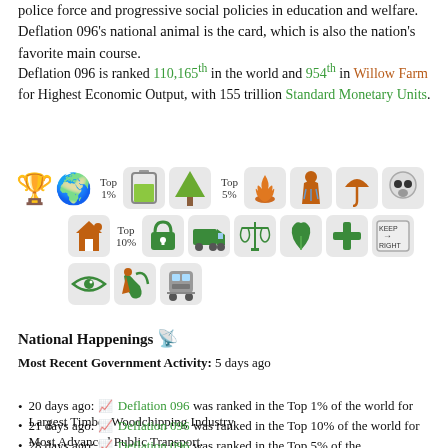police force and progressive social policies in education and welfare. Deflation 096's national animal is the card, which is also the nation's favorite main course.
Deflation 096 is ranked 110,165th in the world and 954th in Willow Farm for Highest Economic Output, with 155 trillion Standard Monetary Units.
[Figure (infographic): Achievement icons grid showing Top 1%, Top 5%, Top 10% rankings with various category icons (timber, environment, fire, umbrella, health, housing, lock, transport, justice, food, medical, traffic, eye, horn, train)]
National Happenings
Most Recent Government Activity: 5 days ago
20 days ago: Deflation 096 was ranked in the Top 1% of the world for Largest Timber Woodchipping Industry.
21 days ago: Deflation 096 was ranked in the Top 10% of the world for Most Advanced Public Transport.
28 days ago: Deflation 096 was ranked in the Top 5% of the